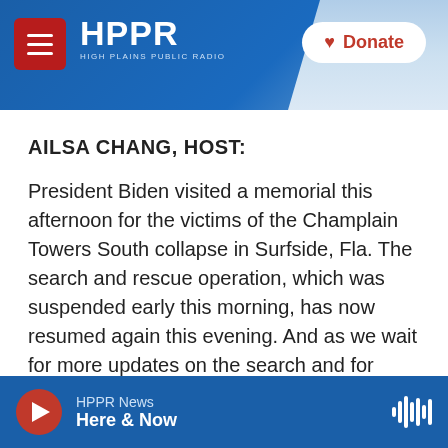[Figure (screenshot): HPPR High Plains Public Radio website header with logo, hamburger menu, and Donate button on blue background]
AILSA CHANG, HOST:
President Biden visited a memorial this afternoon for the victims of the Champlain Towers South collapse in Surfside, Fla. The search and rescue operation, which was suspended early this morning, has now resumed again this evening. And as we wait for more updates on the search and for answers about why the tower collapsed, the town of Surfside has hired the structural engineer who investigated the 9/11 attacks to help uncover how this all happened. Also, Kiev is on...
HPPR News | Here & Now | play button | waveform icon